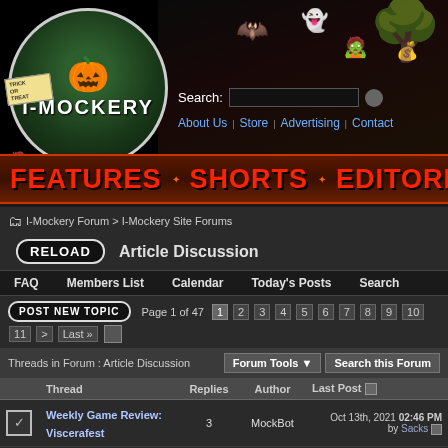[Figure (logo): I-Mockery website header with halloween logo, monster sprites, search bar, and navigation links (About Us, Store, Advertising, Contact)]
[Figure (infographic): Navigation bar with FEATURES, SHORTS, EDITORIA text in red on dark textured background]
I-Mockery Forum > I-Mockery Site Forums
RELOAD   Article Discussion
FAQ   Members List   Calendar   Today's Posts   Search
POST NEW TOPIC   Page 1 of 47  1 2 3 4 5 6 7 8 9 10 11 > Last »
Threads in Forum : Article Discussion   Forum Tools ▼   Search this Forum
|  | Thread | Replies | Author | Last Post |
| --- | --- | --- | --- | --- |
| ✓ | Weekly Game Review: Viscerafest | 3 | MockBot | Oct 13th, 2021 02:46 PM by Sacks |
| ✓ | Weekly Game Review: Hyper Parasite | 0 | MockBot | Apr 3rd, 2020 01:47 AM by MockBot |